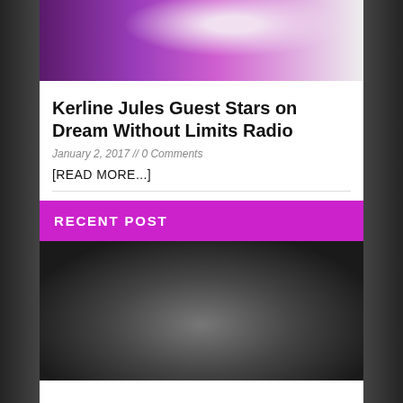[Figure (photo): Photo of a person in white jacket with purple/magenta background, partially cropped at top]
Kerline Jules Guest Stars on Dream Without Limits Radio
January 2, 2017 // 0 Comments
[READ MORE...]
RECENT POST
[Figure (photo): Black and white photo of a woman with curly hair singing into a microphone, dramatic lighting]